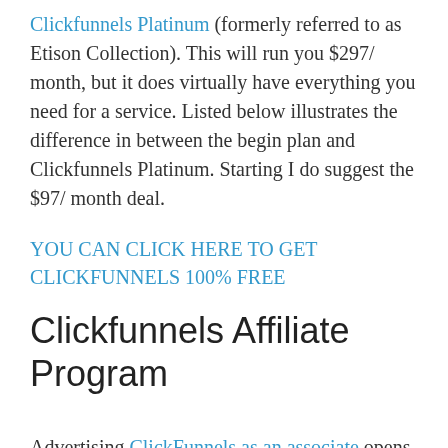Clickfunnels Platinum (formerly referred to as Etison Collection). This will run you $297/ month, but it does virtually have everything you need for a service. Listed below illustrates the difference in between the begin plan and Clickfunnels Platinum. Starting I do suggest the $97/ month deal.
YOU CAN CLICK HERE TO GET CLICKFUNNELS 100% FREE
Clickfunnels Affiliate Program
Advertising ClickFunnels as an associate opens you to earning some good commissions. For instance, for every single sale of ClickFunnels, you are entitled to 40% repeating payments